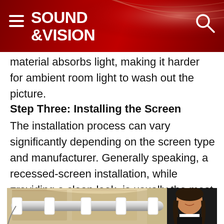SOUND &VISION
material absorbs light, making it harder for ambient room light to wash out the picture.
Step Three: Installing the Screen
The installation process can vary significantly depending on the screen type and manufacturer. Generally speaking, a recessed-screen installation, while providing a clean look, is usually the most invasive and labor-intensive.
[Figure (photo): Photo of a projector screen rod with white mounting clips, and a smiling woman visible on the right side of the image]